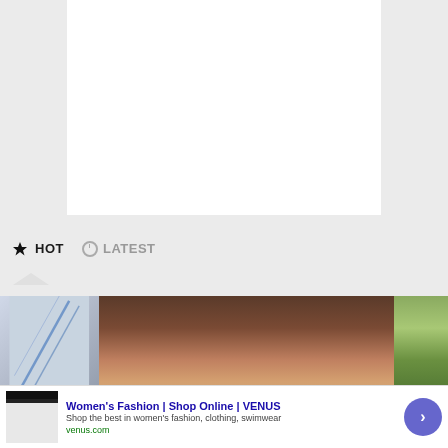[Figure (other): White content/article area on grey background]
HOT   LATEST
[Figure (photo): Photo strip: left shows diagonal lines (aircraft wing), center shows close-up of a person's forehead/face, right shows outdoor foliage]
[Figure (screenshot): Advertisement banner for Women's Fashion | Shop Online | VENUS. Shows website thumbnail, ad title, description 'Shop the best in women's fashion, clothing, swimwear', URL venus.com, and a circular blue arrow button. Has an X close button.]